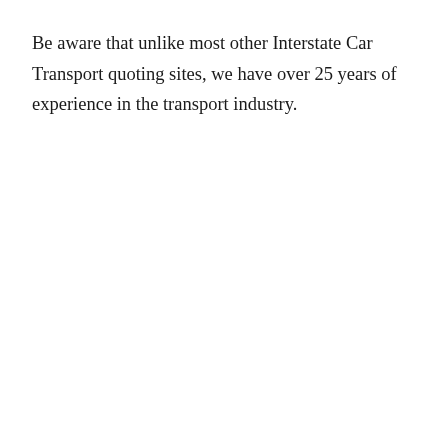Be aware that unlike most other Interstate Car Transport quoting sites, we have over 25 years of experience in the transport industry.